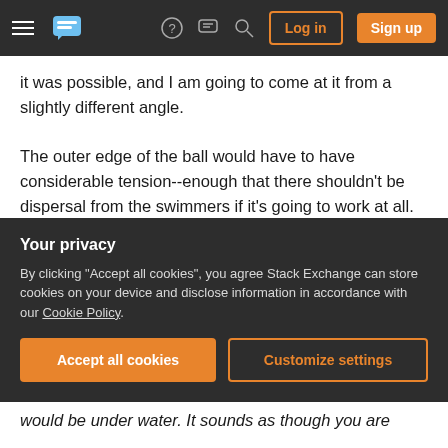Stack Exchange navigation bar with Log in and Sign up buttons
it was possible, and I am going to come at it from a slightly different angle.

The outer edge of the ball would have to have considerable tension--enough that there shouldn't be dispersal from the swimmers if it's going to work at all. EDIT: Thinking about this, it should be multi-layered, in order for people to be able to swim: layer one is the outer "harder" layer from which nothing escapes, except for release points, maybe on the top and perhaps the bottom. Layer 2, the inner
Your privacy
By clicking "Accept all cookies", you agree Stack Exchange can store cookies on your device and disclose information in accordance with our Cookie Policy.
Accept all cookies   Customize settings
would be under water. It sounds as though you are